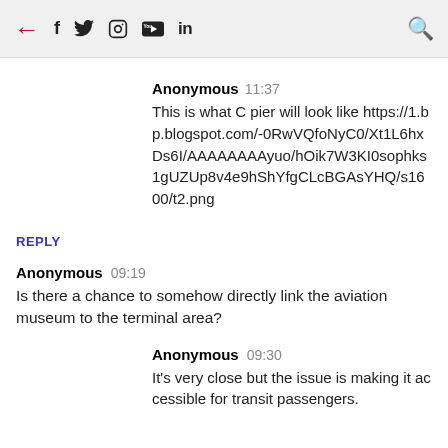← f 🐦 📷 ▶ in 🔍
Anonymous 11:37
This is what C pier will look like https://1.bp.blogspot.com/-0RwVQfoNyC0/Xt1L6hxDs6I/AAAAAAAAyuo/hOik7W3KI0sophks1gUZUp8v4e9hShYfgCLcBGAsYHQ/s1600/t2.png
REPLY
Anonymous 09:19
Is there a chance to somehow directly link the aviation museum to the terminal area?
Anonymous 09:30
It's very close but the issue is making it accessible for transit passengers.